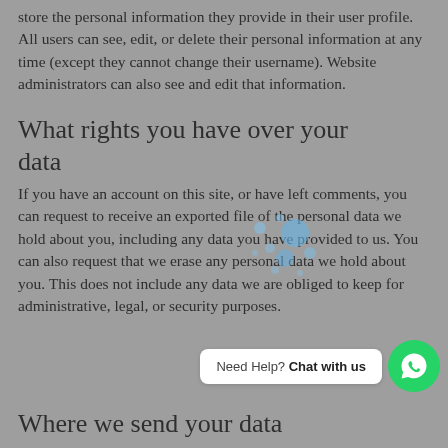store the personal information they provide in their user profile. All users can see, edit, or delete their personal information at any time (except they cannot change their username). Website administrators can also see and edit that information.
What rights you have over your data
If you have an account on this site, or have left comments, you can request to receive an exported file of the personal data we hold about you, including any data you have provided to us. You can also request that we erase any personal data we hold about you. This does not include any data we are obliged to keep for administrative, legal, or security purposes.
Where we send your data